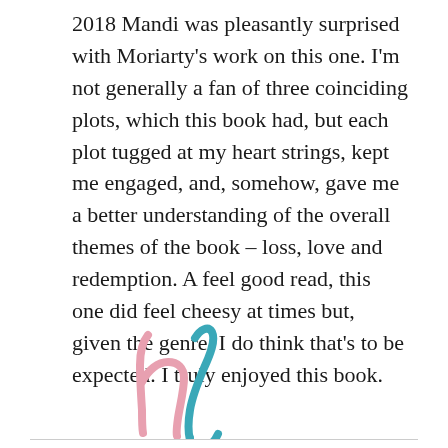2018 Mandi was pleasantly surprised with Moriarty's work on this one. I'm not generally a fan of three coinciding plots, which this book had, but each plot tugged at my heart strings, kept me engaged, and, somehow, gave me a better understanding of the overall themes of the book – loss, love and redemption. A feel good read, this one did feel cheesy at times but, given the genre, I do think that's to be expected. I truly enjoyed this book.
[Figure (logo): A stylized logo with overlapping pink cursive 'h' and teal/blue cursive 'c' letters forming a monogram signature.]